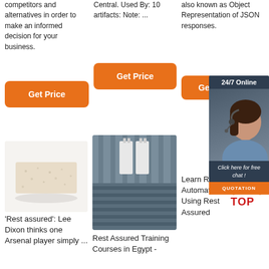competitors and alternatives in order to make an informed decision for your business.
[Figure (other): Orange 'Get Price' button in column 1]
Central. Used By: 10 artifacts: Note: ...
[Figure (other): Orange 'Get Price' button in column 2]
also known as Object Representation of JSON responses.
[Figure (other): Orange 'Get' button in column 3]
[Figure (other): 24/7 Online chat advertisement panel with woman wearing headset, 'Click here for free chat!' text and orange QUOTATION button]
[Figure (photo): Photo of a beige/cream colored brick or block material on white background]
[Figure (photo): Photo of white industrial equipment or metal components on a rack/shelf]
'Rest assured': Lee Dixon thinks one Arsenal player simply ...
Rest Assured Training Courses in Egypt -
Learn Rest API Automation Using Rest Assured
[Figure (logo): TOP logo with orange triangular dotted design and red 'TOP' text]